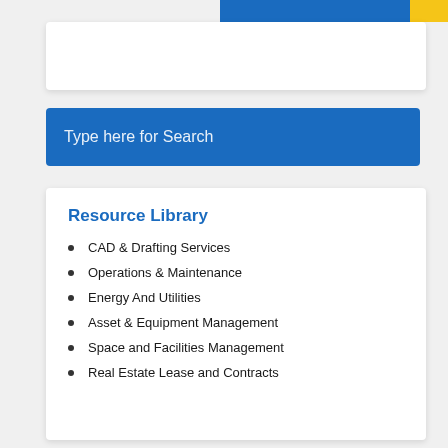[Figure (screenshot): Top decorative header bars: blue and yellow accent bars on top right]
[Figure (screenshot): White card panel partially visible at top of page]
Type here for Search
Resource Library
CAD & Drafting Services
Operations & Maintenance
Energy And Utilities
Asset & Equipment Management
Space and Facilities Management
Real Estate Lease and Contracts